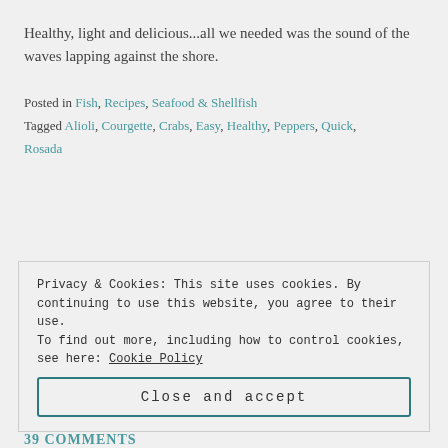Healthy, light and delicious...all we needed was the sound of the waves lapping against the shore.
Posted in Fish, Recipes, Seafood & Shellfish
Tagged Alioli, Courgette, Crabs, Easy, Healthy, Peppers, Quick, Rosada
Privacy & Cookies: This site uses cookies. By continuing to use this website, you agree to their use.
To find out more, including how to control cookies, see here: Cookie Policy
Close and accept
39 COMMENTS